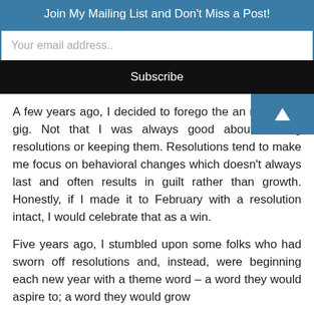Join My Mailing List and Don't Miss a Post!
Your email address..
Subscribe
A few years ago, I decided to forego the annual resolution gig. Not that I was always good about making resolutions or keeping them. Resolutions tend to make me focus on behavioral changes which doesn’t always last and often results in guilt rather than growth. Honestly, if I made it to February with a resolution intact, I would celebrate that as a win.
Five years ago, I stumbled upon some folks who had sworn off resolutions and, instead, were beginning each new year with a theme word – a word they would aspire to; a word they would grow